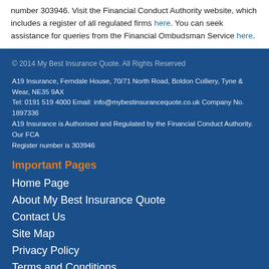number 303946. Visit the Financial Conduct Authority website, which includes a register of all regulated firms here. You can seek assistance for queries from the Financial Ombudsman Service here.
© 2014 My Best Insurance Quote. All Rights Reserved
A19 Insurance, Ferndale House, 70/71 North Road, Boldon Colliery, Tyne & Wear, NE35 9AX
Tel: 0191 519 4000 Email: info@mybestinsurancequote.co.uk Company No. 1897336
A19 Insurance is Authorised and Regulated by the Financial Conduct Authority. Our FCA
Register number is 303946
Important Pages
Home Page
About My Best Insurance Quote
Contact Us
Site Map
Privacy Policy
Terms and Conditions